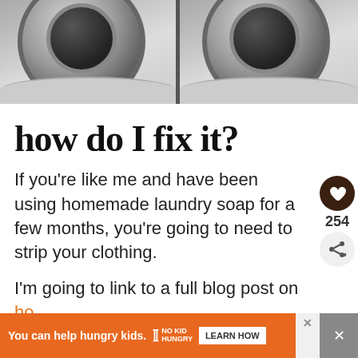[Figure (photo): Black and white photo showing two washing machine drum doors side by side, split by a vertical divider.]
how do I fix it?
If you’re like me and have been using homemade laundry soap for a few months, you’re going to need to strip your clothing.
I’m going to link to a full blog post on how to strip it, but I’m also going to include a few photos here for you to see all the dirt that was hiding in the ‘clean’ clothes.
[Figure (screenshot): Ad banner: orange background with text 'You can help hungry kids.' No Kid Hungry logo and LEARN HOW button.]